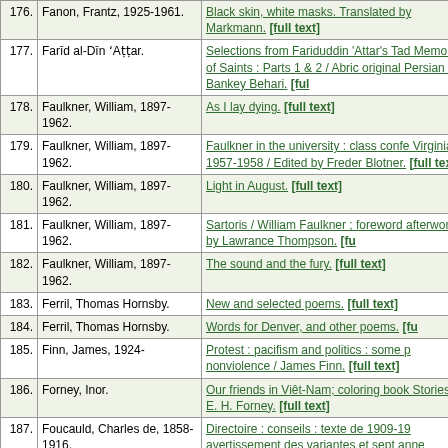| # | Author | Title |
| --- | --- | --- |
| 176. | Fanon, Frantz, 1925-1961. | Black skin, white masks. Translated by Markmann. [full text] |
| 177. | Farīd al-Dīn ʻAṭṭar. | Selections from Fariduddin 'Attar's Tad Memoirs of Saints : Parts 1 & 2 / Abric original Persian by Bankey Behari. [ful |
| 178. | Faulkner, William, 1897-1962. | As I lay dying. [full text] |
| 179. | Faulkner, William, 1897-1962. | Faulkner in the university : class confe Virginia, 1957-1958 / Edited by Freder Blotner. [full text] |
| 180. | Faulkner, William, 1897-1962. | Light in August. [full text] |
| 181. | Faulkner, William, 1897-1962. | Sartoris / William Faulkner ; foreword afterword by Lawrance Thompson. [fu |
| 182. | Faulkner, William, 1897-1962. | The sound and the fury. [full text] |
| 183. | Ferril, Thomas Hornsby. | New and selected poems. [full text] |
| 184. | Ferril, Thomas Hornsby. | Words for Denver, and other poems. [fu |
| 185. | Finn, James, 1924- | Protest : pacifism and politics : some p nonviolence / James Finn. [full text] |
| 186. | Forney, Inor. | Our friends in Viêt-Nam; coloring book Stories by E. H. Forney. [full text] |
| 187. | Foucauld, Charles de, 1858-1916. | Directoire : conseils : texte de 1909-19 avertissement des variantes et sept anne |
| 188. | Foucauld, Charles de, 1858-1916. | Oeuvres spirituelles: anthologie, par Fr (Charles de Foucauld) [full text] |